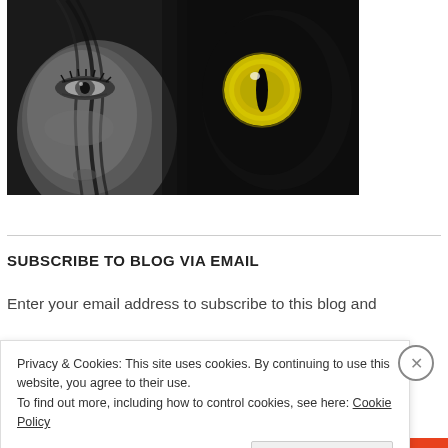[Figure (photo): A black and white close-up photo showing half of a woman's face on the left and a glowing yellow cat eye on the right against a dark background.]
SUBSCRIBE TO BLOG VIA EMAIL
Enter your email address to subscribe to this blog and
Privacy & Cookies: This site uses cookies. By continuing to use this website, you agree to their use.
To find out more, including how to control cookies, see here: Cookie Policy
Close and accept